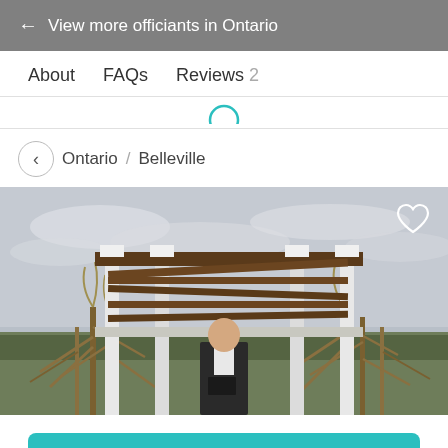← View more officiants in Ontario
About   FAQs   Reviews 2
Ontario / Belleville
[Figure (photo): An officiant standing under an outdoor pergola with white posts and dark wooden beams, flanked by dried corn stalks, with a cloudy sky and green landscape in background.]
Message Vendor